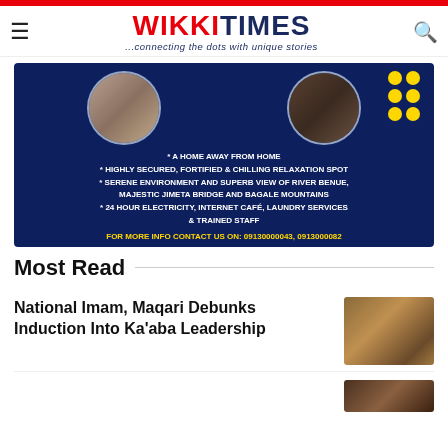WIKKI TIMES — ...connecting the dots with unique stories
[Figure (infographic): Advertisement banner for a hotel/guesthouse. Dark navy background with two circular room images at top, yellow dot grid, text listing amenities: 'A HOME AWAY FROM HOME', 'HIGHLY SECURED, FORTIFIED & CHILLING RELAXATION SPOT', 'SERENE ENVIRONMENT AND SUPERB VIEW OF RIVER BENUE, MAJESTIC JIMETA BRIDGE AND BAGALE MOUNTAINS', '24 HOUR ELECTRICITY, INTERNET CAFÉ, LAUNDRY SERVICES & TRAINED STAFF'. Contact: 'FOR MORE INFO CONTACT US ON: 09130000043, 09130000082']
Most Read
National Imam, Maqari Debunks Induction Into Ka'aba Leadership
[Figure (photo): Thumbnail photo of a person in traditional attire with red cap]
[Figure (photo): Partial thumbnail photo at bottom right]